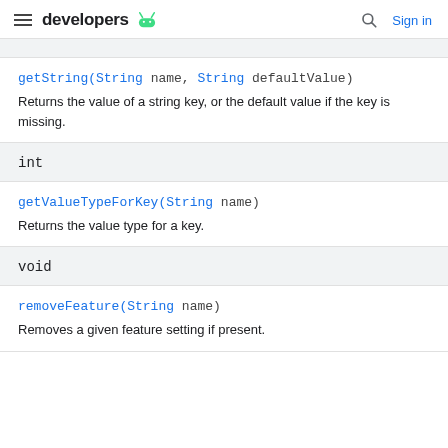developers [android logo] | [search] Sign in
getString(String name, String defaultValue)
Returns the value of a string key, or the default value if the key is missing.
int
getValueTypeForKey(String name)
Returns the value type for a key.
void
removeFeature(String name)
Removes a given feature setting if present.